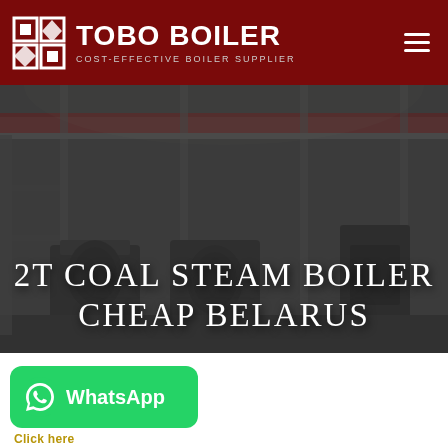TOBO BOILER — COST-EFFECTIVE BOILER SUPPLIER
[Figure (photo): Industrial boiler manufacturing factory floor with large overhead crane, multiple boiler units, and red structural steel beams. Dimmed/darkened overlay. Title text '2T COAL STEAM BOILER CHEAP BELARUS' overlaid in white serif font.]
2T COAL STEAM BOILER CHEAP BELARUS
[Figure (logo): WhatsApp button — green rounded rectangle with WhatsApp phone icon and 'WhatsApp' text in white bold font]
Click here